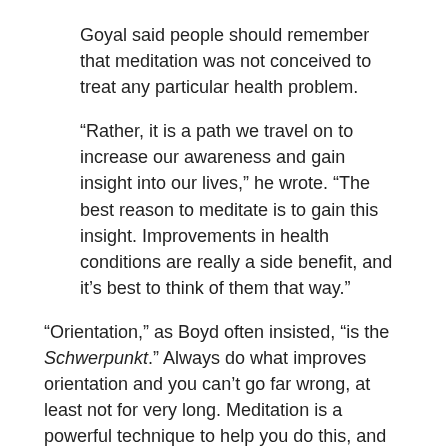Goyal said people should remember that meditation was not conceived to treat any particular health problem.
“Rather, it is a path we travel on to increase our awareness and gain insight into our lives,” he wrote. “The best reason to meditate is to gain this insight. Improvements in health conditions are really a side benefit, and it’s best to think of them that way.”
“Orientation,” as Boyd often insisted, “is the Schwerpunkt.” Always do what improves orientation and you can’t go far wrong, at least not for very long. Meditation is a powerful technique to help you do this, and I’ve long thought it should be a part of the curriculum in military leadership and civilian MBA programs.